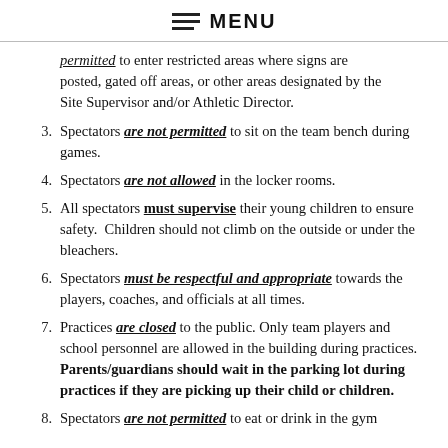MENU
permitted to enter restricted areas where signs are posted, gated off areas, or other areas designated by the Site Supervisor and/or Athletic Director.
3. Spectators are not permitted to sit on the team bench during games.
4. Spectators are not allowed in the locker rooms.
5. All spectators must supervise their young children to ensure safety.  Children should not climb on the outside or under the bleachers.
6. Spectators must be respectful and appropriate towards the players, coaches, and officials at all times.
7. Practices are closed to the public. Only team players and school personnel are allowed in the building during practices. Parents/guardians should wait in the parking lot during practices if they are picking up their child or children.
8. Spectators are not permitted to eat or drink in the gym